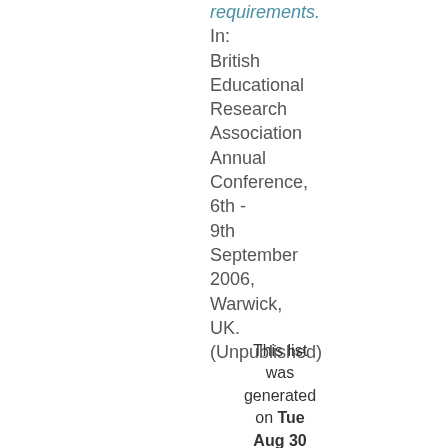requirements. In: British Educational Research Association Annual Conference, 6th - 9th September 2006, Warwick, UK. (Unpublished)
This list was generated on Tue Aug 30 23:39:38 2022 UTC